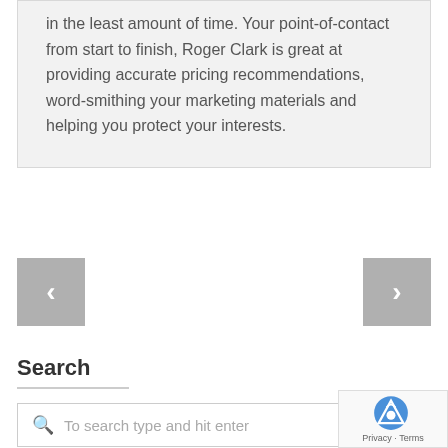in the least amount of time. Your point-of-contact from start to finish, Roger Clark is great at providing accurate pricing recommendations, word-smithing your marketing materials and helping you protect your interests.
[Figure (other): Navigation buttons: left arrow (previous) and right arrow (next) for a carousel/slider]
Search
[Figure (screenshot): Search input bar with magnifying glass icon and placeholder text 'To search type and hit enter']
[Figure (other): reCAPTCHA badge with Google logo and Privacy - Terms links]